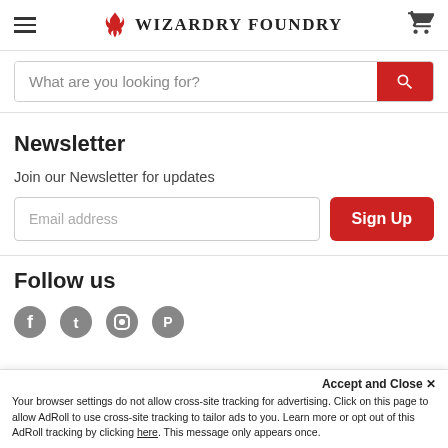Wizardry Foundry — navigation header with hamburger menu and cart icon
What are you looking for?
Newsletter
Join our Newsletter for updates
Email address
Sign Up
Follow us
Accept and Close ✕
Your browser settings do not allow cross-site tracking for advertising. Click on this page to allow AdRoll to use cross-site tracking to tailor ads to you. Learn more or opt out of this AdRoll tracking by clicking here. This message only appears once.